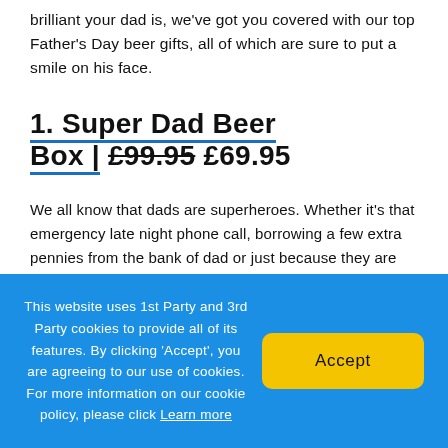brilliant your dad is, we've got you covered with our top Father's Day beer gifts, all of which are sure to put a smile on his face.
1. Super Dad Beer Box | £99.95 £69.95
We all know that dads are superheroes. Whether it's that emergency late night phone call, borrowing a few extra pennies from the bank of dad or just because they are always there when you need them,
This website uses 1st Party and 3rd Party cookies to provide all of its features. By clicking 'Accept', you are agreeing to our use of cookies. For more information on our cookie policy, please click Learn more